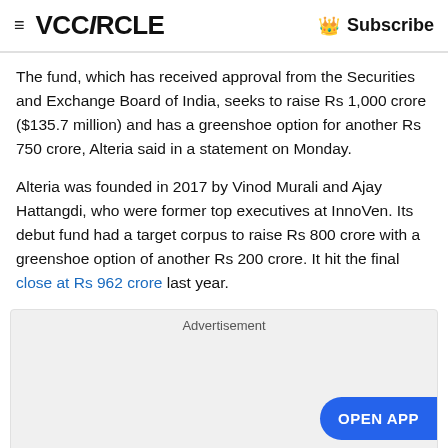≡ VCCiRCLE  Subscribe
The fund, which has received approval from the Securities and Exchange Board of India, seeks to raise Rs 1,000 crore ($135.7 million) and has a greenshoe option for another Rs 750 crore, Alteria said in a statement on Monday.
Alteria was founded in 2017 by Vinod Murali and Ajay Hattangdi, who were former top executives at InnoVen. Its debut fund had a target corpus to raise Rs 800 crore with a greenshoe option of another Rs 200 crore. It hit the final close at Rs 962 crore last year.
[Figure (other): Advertisement banner placeholder box with 'Advertisement' label and 'OPEN APP' button]